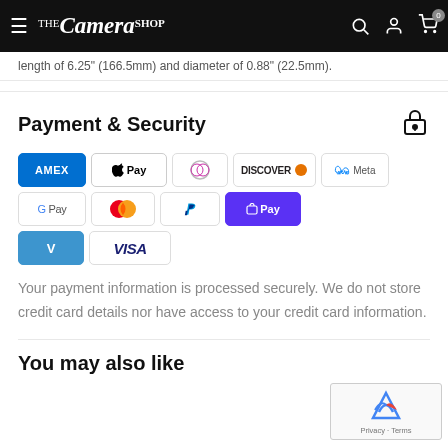The Camera Shop — navigation bar
length of 6.25" (166.5mm) and diameter of 0.88" (22.5mm).
Payment & Security
[Figure (infographic): Payment method badges: American Express, Apple Pay, Diners Club, Discover, Meta, Google Pay, Mastercard, PayPal, Shop Pay, Venmo, Visa]
Your payment information is processed securely. We do not store credit card details nor have access to your credit card information.
You may also like